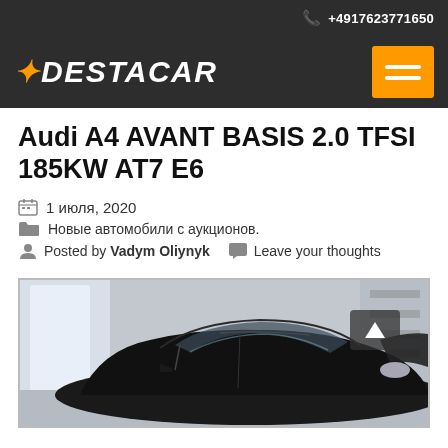+4917623771650
[Figure (logo): Destacar logo with orange plus sign and white italic bold text on dark background, with orange hamburger menu button]
Audi A4 AVANT BASIS 2.0 TFSI 185KW AT7 E6
1 июля, 2020
Новые автомобили с аукционов.
Posted by Vadym Oliynyk   Leave your thoughts
[Figure (photo): Black Audi A4 Avant photographed inside a car dealership or showroom, with large windows and shelving visible in the background]